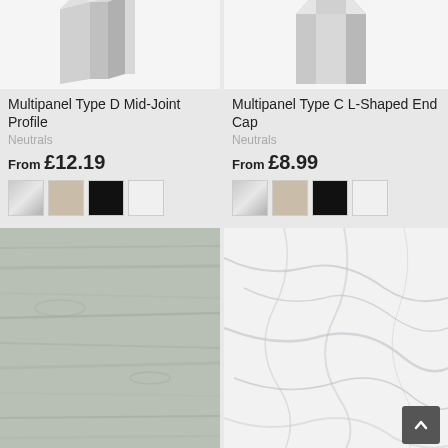[Figure (photo): Multipanel Type D Mid-Joint Profile product image - a grey rectangular panel profile shown in 3D perspective]
Multipanel Type D Mid-Joint Profile
Neutrals
From £12.19
[Figure (photo): Color swatches: silver, beige, black, white]
[Figure (photo): Multipanel Type C L-Shaped End Cap product image - a grey L-shaped corner profile shown in 3D perspective]
Multipanel Type C L-Shaped End Cap
Neutrals
From £8.99
[Figure (photo): Color swatches: silver, beige, black, white]
[Figure (photo): Wood-effect panel texture in light grey/green tones]
[Figure (photo): Marble-effect panel texture in white with grey veining, with scroll-to-top button]